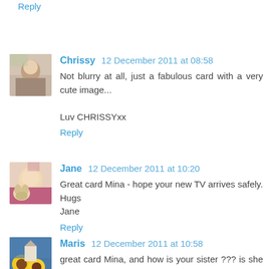Reply
Chrissy 12 December 2011 at 08:58
Not blurry at all, just a fabulous card with a very cute image...

Luv CHRISSYxx
Reply
Jane 12 December 2011 at 10:20
Great card Mina - hope your new TV arrives safely.
Hugs
Jane
Reply
Maris 12 December 2011 at 10:58
great card Mina, and how is your sister ??? is she also